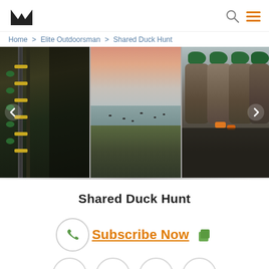m [logo] | search icon | menu icon
Home > Elite Outdoorsman > Shared Duck Hunt
[Figure (photo): Three-panel photo slider: left panel shows duck decoys/hunting equipment in dark green/brown tones; center panel shows a wetland at dusk with pink sky and ducks on water; right panel shows harvested mallard ducks with green heads hung up after a hunt.]
Shared Duck Hunt
Subscribe Now